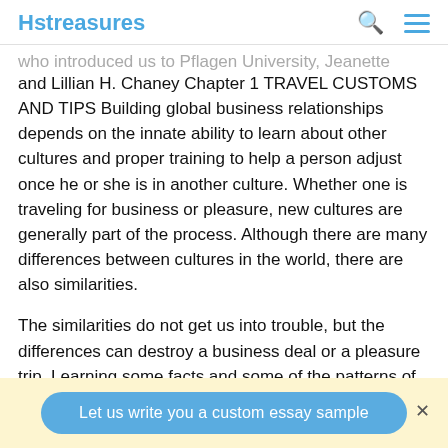Hstreasures
who introduced us to Pflagen University, Jeanette Marin and Lillian H. Chaney Chapter 1 TRAVEL CUSTOMS AND TIPS Building global business relationships depends on the innate ability to learn about other cultures and proper training to help a person adjust once he or she is in another culture. Whether one is traveling for business or pleasure, new cultures are generally part of the process. Although there are many differences between cultures in the world, there are also similarities.
The similarities do not get us into trouble, but the differences can destroy a business deal or a pleasure trip. Learning some facts and some of the patterns of other
Let us write you a custom essay sample